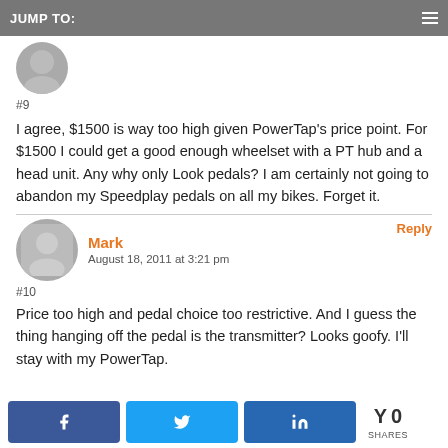JUMP TO:
#9
I agree, $1500 is way too high given PowerTap's price point. For $1500 I could get a good enough wheelset with a PT hub and a head unit. Any why only Look pedals? I am certainly not going to abandon my Speedplay pedals on all my bikes. Forget it.
Mark
August 18, 2011 at 3:21 pm
Reply
#10
Price too high and pedal choice too restrictive. And I guess the thing hanging off the pedal is the transmitter? Looks goofy. I'll stay with my PowerTap.